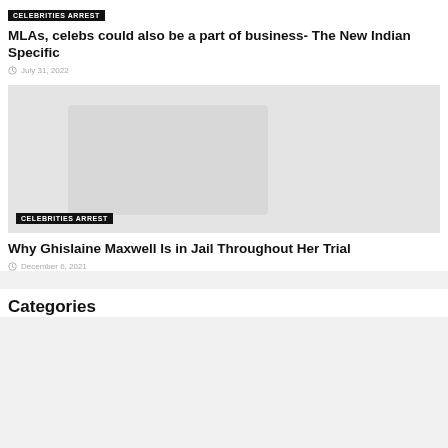CELEBRITIES ARREST
MLAs, celebs could also be a part of business- The New Indian Specific
July 31, 2022
[Figure (photo): Gray placeholder image for article about Ghislaine Maxwell]
CELEBRITIES ARREST
Why Ghislaine Maxwell Is in Jail Throughout Her Trial
December 6, 2021
Categories